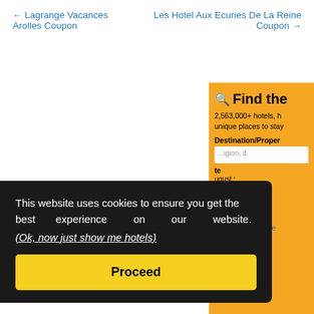← Lagrange Vacances Arolles Coupon
Les Hotel Aux Ecuries De La Reine Coupon →
[Figure (screenshot): Partial booking.com search widget on orange background showing 'Find the ...' heading, '2,563,000+ hotels, h...', 'unique places to sta...', 'Destination/Proper...', input box with placeholder text '...gion, d...', date fields partially visible, and '2,563,380 prope...' count with checkmark]
This website uses cookies to ensure you get the best experience on our website.
(Ok, now just show me hotels)
Proceed